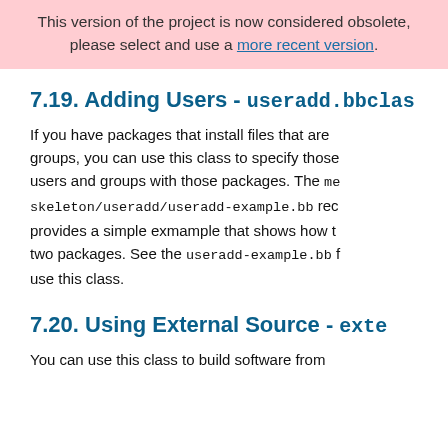This version of the project is now considered obsolete, please select and use a more recent version.
7.19. Adding Users - useradd.bbclass
If you have packages that install files that are owned by specific users or groups, you can use this class to specify those users and groups with those packages. The meta/skeleton/useradd/useradd-example.bb recipe provides a simple exmample that shows how to add users to two packages. See the useradd-example.bb file for details on how to use this class.
7.20. Using External Source - externalsrc.bbclass
You can use this class to build software from